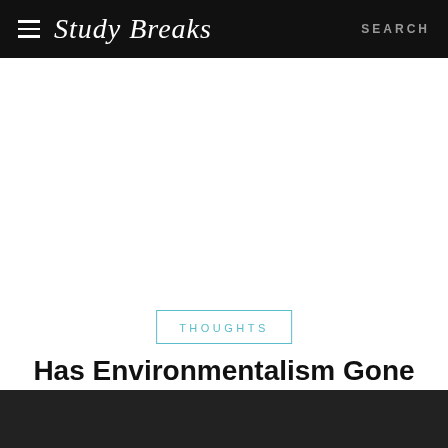Study Breaks  SEARCH
[Figure (other): Advertisement/blank white area below navigation bar]
THOUGHTS
Has Environmentalism Gone Too Far With Reusable Toilet Paper?